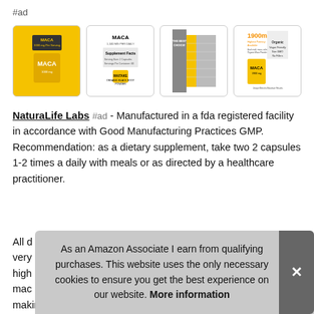#ad
[Figure (photo): Four product images of NaturaLife Labs MACA supplement showing product bottle, supplement facts label, comparison chart, and ingredient highlights]
NaturaLife Labs #ad - Manufactured in a fda registered facility in accordance with Good Manufacturing Practices GMP. Recommendation: as a dietary supplement, take two 2 capsules 1-2 times a daily with meals or as directed by a healthcare practitioner.
All d... very... high... mac... making it the most potent available.
As an Amazon Associate I earn from qualifying purchases. This website uses the only necessary cookies to ensure you get the best experience on our website. More information